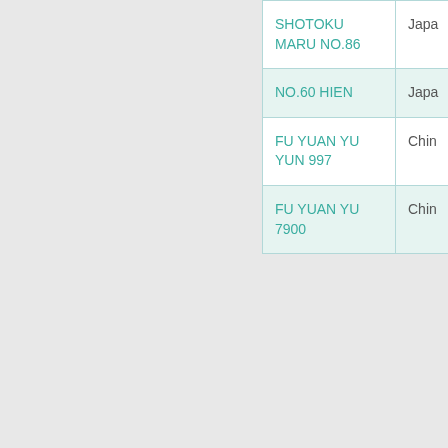| Vessel Name | Country |
| --- | --- |
| SHOTOKU MARU NO.86 | Japa... |
| NO.60 HIEN | Japa... |
| FU YUAN YU YUN 997 | Chin... |
| FU YUAN YU 7900 | Chin... |
« first   ‹ previ
Displaying 501 - 550 of 33...
CSV